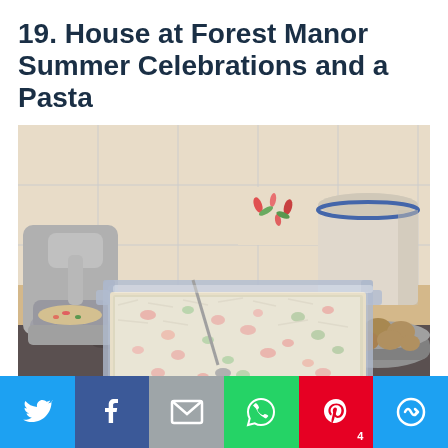19. House at Forest Manor Summer Celebrations and a Pasta
[Figure (photo): Kitchen counter scene showing a glass baking dish filled with pasta topped with grated cheese, colorful vegetables visible underneath. A KitchenAid stand mixer is on the left, a ceramic canister in the back right, and a bowl of potatoes on the right. Granite countertop, white tile backsplash with floral accent tile.]
[Figure (infographic): Social media share bar with six buttons: Twitter (blue bird icon), Facebook (dark blue f icon), Mail (grey envelope icon), WhatsApp (green phone/chat icon), Pinterest (red P icon with count 4), and More (blue circular arrow icon).]